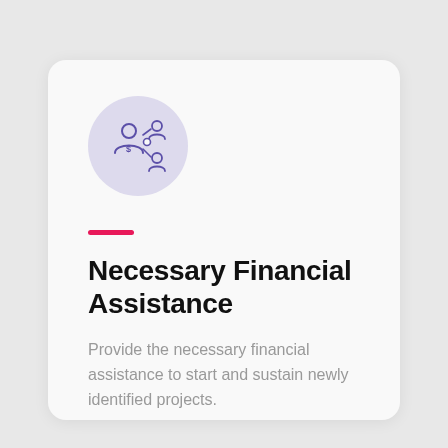[Figure (illustration): A circular lavender icon showing a person (financial advisor) connected to two other people figures with a dollar sign node, representing financial assistance network.]
Necessary Financial Assistance
Provide the necessary financial assistance to start and sustain newly identified projects.